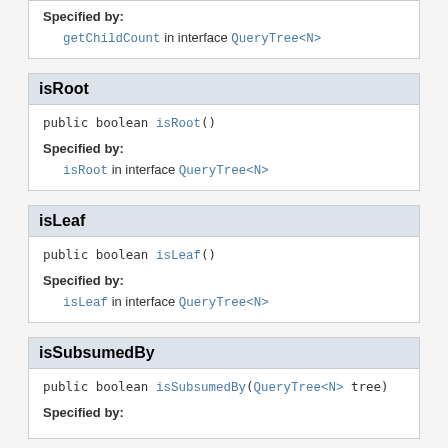Specified by: getChildCount in interface QueryTree<N>
isRoot
public boolean isRoot()
Specified by: isRoot in interface QueryTree<N>
isLeaf
public boolean isLeaf()
Specified by: isLeaf in interface QueryTree<N>
isSubsumedBy
public boolean isSubsumedBy(QueryTree<N> tree)
Specified by: